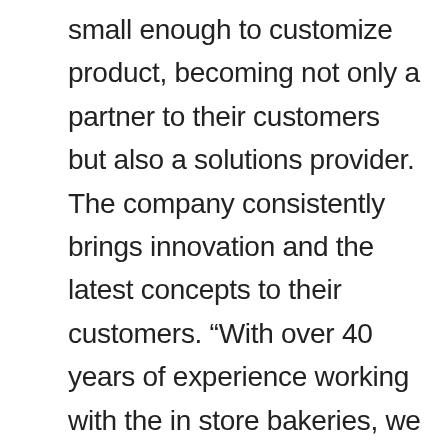small enough to customize product, becoming not only a partner to their customers but also a solutions provider. The company consistently brings innovation and the latest concepts to their customers. “With over 40 years of experience working with the in store bakeries, we understand the goals and objectives that our customers strive to achieve. We focus on ease of operation, reduce labor cost, and increasing margins while delivering the latest trends and market research,” Rizzitello said. The